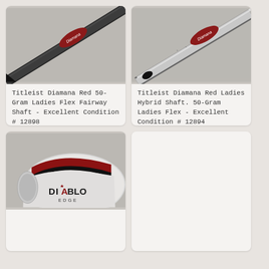[Figure (photo): Close-up photo of a dark/grey Titleist Diamana Red golf shaft with red logo label on grey background]
Titleist Diamana Red 50-Gram Ladies Flex Fairway Shaft - Excellent Condition # 12898
$110.00 AUD
[Figure (photo): Close-up photo of a silver/white Titleist Diamana Red Ladies Hybrid golf shaft with red logo label on grey background]
Titleist Diamana Red Ladies Hybrid Shaft. 50-Gram Ladies Flex - Excellent Condition # 12894
$100.00 AUD
[Figure (photo): Photo of a Diablo Edge golf club head, white and red/dark coloring, showing the sole and face]
[Figure (photo): Empty or blank card area (product not visible)]